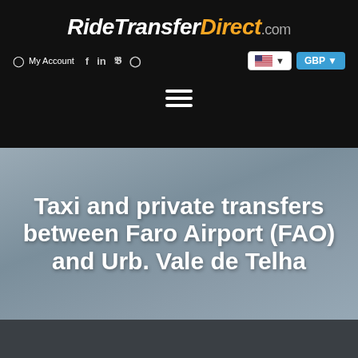RideTransferDirect.com
My Account | f | in | y | Instagram | US flag | GBP
[Figure (screenshot): Hamburger menu icon (three horizontal white lines)]
Taxi and private transfers between Faro Airport (FAO) and Urb. Vale de Telha
[Figure (photo): Dark vehicle photo partially visible at bottom]